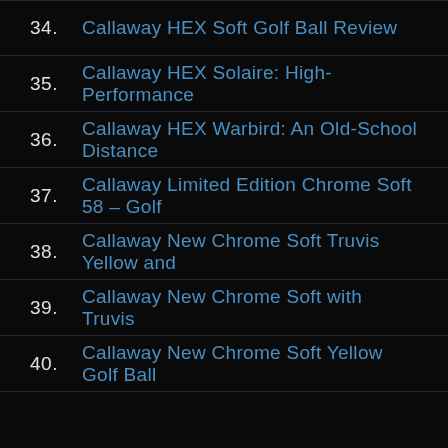34. Callaway HEX Soft Golf Ball Review
35. Callaway HEX Solaire: High-Performance
36. Callaway HEX Warbird: An Old-School Distance
37. Callaway Limited Edition Chrome Soft 58 – Golf
38. Callaway New Chrome Soft Truvis Yellow and
39. Callaway New Chrome Soft with Truvis
40. Callaway New Chrome Soft Yellow Golf Ball